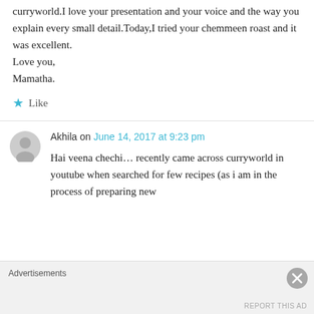curryworld.I love your presentation and your voice and the way you explain every small detail.Today,I tried your chemmeen roast and it was excellent.
Love you,
Mamatha.
Like
Akhila on June 14, 2017 at 9:23 pm
Hai veena chechi... recently came across curryworld in youtube when searched for few recipes (as i am in the process of preparing new
Advertisements